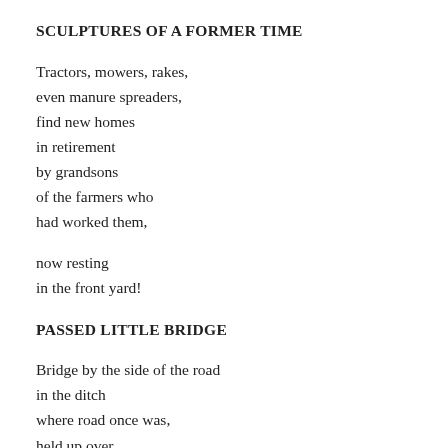SCULPTURES OF A FORMER TIME
Tractors, mowers, rakes,
even manure spreaders,
find new homes
in retirement
by grandsons
of the farmers who
had worked them,
now resting
in the front yard!
PASSED LITTLE BRIDGE
Bridge by the side of the road
in the ditch
where road once was,
held up over